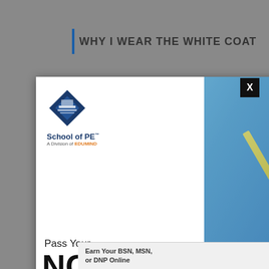WHY I WEAR THE WHITE COAT
[Figure (screenshot): School of PE advertisement popup showing a student writing with pencil, text 'Pass Your NCEES EXAMS Become Licensed Prepare with School of PE', logo with diamond shape and 'A Division of EDUMIND']
[Figure (screenshot): Video player error message on dark background: 'The media could not be loaded, either because the server or network failed or because the format is not supported.']
first
insti
[Figure (screenshot): Bottom banner ad: 'Earn Your BSN, MSN, or DNP Online']